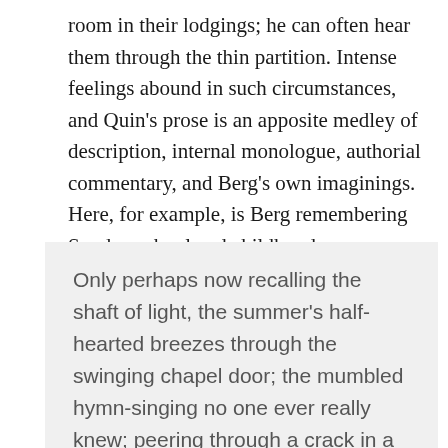room in their lodgings; he can often hear them through the thin partition. Intense feelings abound in such circumstances, and Quin's prose is an apposite medley of description, internal monologue, authorial commentary, and Berg's own imaginings. Here, for example, is Berg remembering Sunday school and childhood summers:
Only perhaps now recalling the shaft of light, the summer's half-hearted breezes through the swinging chapel door; the mumbled hymn-singing no one ever really knew; peering through a crack in a grave, in awe at the stick-like bones, or staring at